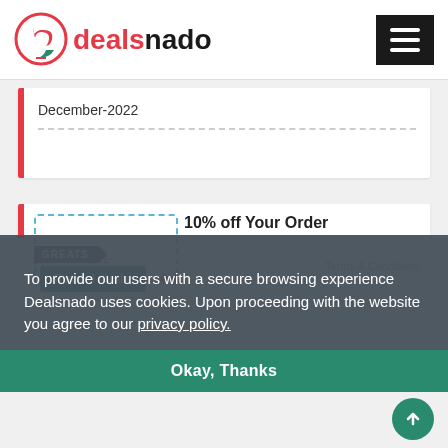[Figure (logo): Dealsnado logo with red and dark text, hamburger menu icon on right]
December-2022
10% off Your Order
Ends : 31-December-2022
Terms & Conditions
To provide our users with a secure browsing experience Dealsnado uses cookies. Upon proceeding with the website you agree to our privacy policy.
Okay, Thanks